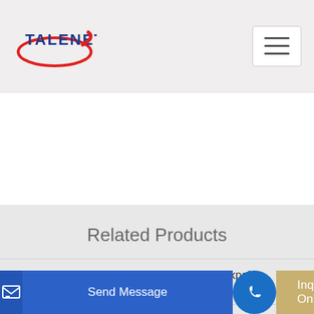[Figure (logo): TALENET company logo with red oval swoosh and blue text]
Related Products
Concrete Vacuum Dewatering Pump By Lokpal Industries
concrete pumping holdings inc bbcp
ecision Concrete Pumping and Spraying Limited Jobs and
Send Message
Inquiry Online